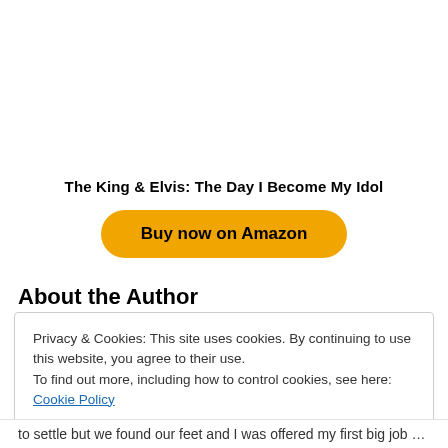The King & Elvis: The Day I Become My Idol
[Figure (other): Buy now on Amazon button — rounded yellow/gold pill-shaped button with bold black text]
About the Author
Privacy & Cookies: This site uses cookies. By continuing to use this website, you agree to their use.
To find out more, including how to control cookies, see here: Cookie Policy
Close and accept
to settle but we found our feet and I was offered my first big job since